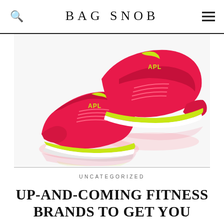BAG SNOB
[Figure (photo): Two red and neon yellow APL athletic running sneakers on a white background with reflections below]
UNCATEGORIZED
UP-AND-COMING FITNESS BRANDS TO GET YOU